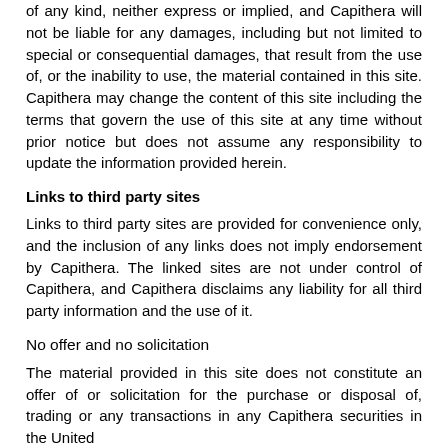of any kind, neither express or implied, and Capithera will not be liable for any damages, including but not limited to special or consequential damages, that result from the use of, or the inability to use, the material contained in this site. Capithera may change the content of this site including the terms that govern the use of this site at any time without prior notice but does not assume any responsibility to update the information provided herein.
Links to third party sites
Links to third party sites are provided for convenience only, and the inclusion of any links does not imply endorsement by Capithera. The linked sites are not under control of Capithera, and Capithera disclaims any liability for all third party information and the use of it.
No offer and no solicitation
The material provided in this site does not constitute an offer of or solicitation for the purchase or disposal of, trading or any transactions in any Capithera securities in the United